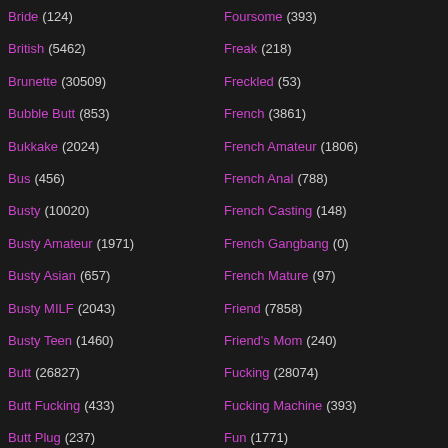Bride (124)
British (5462)
Brunette (30509)
Bubble Butt (853)
Bukkake (2024)
Bus (456)
Busty (10020)
Busty Amateur (1971)
Busty Asian (657)
Busty MILF (2043)
Busty Teen (1460)
Butt (26827)
Butt Fucking (433)
Butt Plug (237)
Buxom (35)
CBT (172)
Foursome (393)
Freak (218)
Freckled (53)
French (3861)
French Amateur (1806)
French Anal (788)
French Casting (148)
French Gangbang (0)
French Mature (97)
Friend (7858)
Friend's Mom (240)
Fucking (28074)
Fucking Machine (393)
Fun (1771)
Funny (1035)
Fur (76)